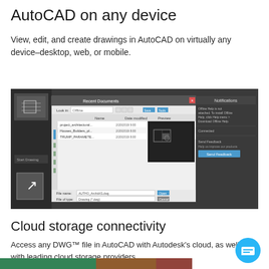AutoCAD on any device
View, edit, and create drawings in AutoCAD on virtually any device–desktop, web, or mobile.
[Figure (screenshot): AutoCAD desktop application screenshot showing the 'Recent Documents' dialog and 'Notifications' panel, with file browser, drawing preview thumbnail, and a 'Send Feedback' button visible.]
Cloud storage connectivity
Access any DWG™ file in AutoCAD with Autodesk's cloud, as well as with leading cloud storage providers.
[Figure (screenshot): Partial bottom screenshot strip showing AutoCAD interface.]